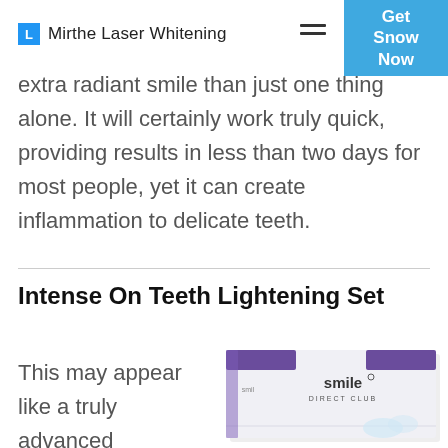L  Mirthe Laser Whitening
extra radiant smile than just one thing alone. It will certainly work truly quick, providing results in less than two days for most people, yet it can create inflammation to delicate teeth.
Intense On Teeth Lightening Set
This may appear like a truly advanced
[Figure (photo): Smile Direct Club teeth whitening kit product box, white with purple accents]